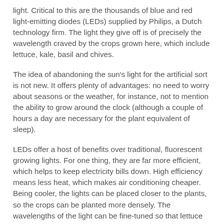light. Critical to this are the thousands of blue and red light-emitting diodes (LEDs) supplied by Philips, a Dutch technology firm. The light they give off is of precisely the wavelength craved by the crops grown here, which include lettuce, kale, basil and chives.
The idea of abandoning the sun's light for the artificial sort is not new. It offers plenty of advantages: no need to worry about seasons or the weather, for instance, not to mention the ability to grow around the clock (although a couple of hours a day are necessary for the plant equivalent of sleep).
LEDs offer a host of benefits over traditional, fluorescent growing lights. For one thing, they are far more efficient, which helps to keep electricity bills down. High efficiency means less heat, which makes air conditioning cheaper. Being cooler, the lights can be placed closer to the plants, so the crops can be planted more densely. The wavelengths of the light can be fine-tuned so that lettuce is crisper, or softer.
The crops grow faster, too. Philips reckons that using LED lights in this sort of controlled, indoor environment could cut